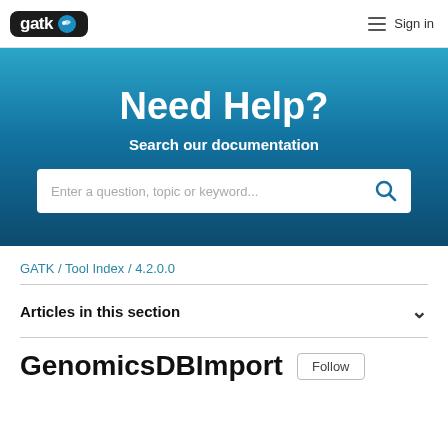gatk [logo] Sign in
Need Help?
Search our documentation
Enter a question, topic or keyword...
GATK / Tool Index / 4.2.0.0
Articles in this section
GenomicsDBImport